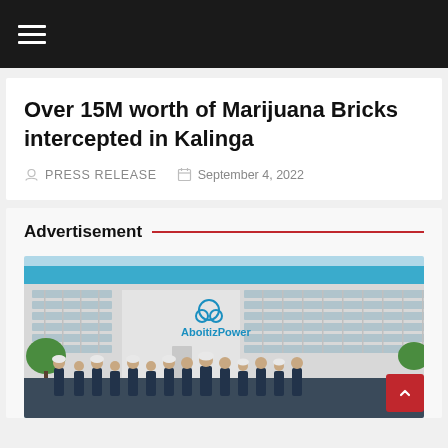Navigation menu bar
Over 15M worth of Marijuana Bricks intercepted in Kalinga
PRESS RELEASE  September 4, 2022
Advertisement
[Figure (photo): AboitizPower building exterior with employees standing in front, wearing dark blue uniforms and white hard hats]